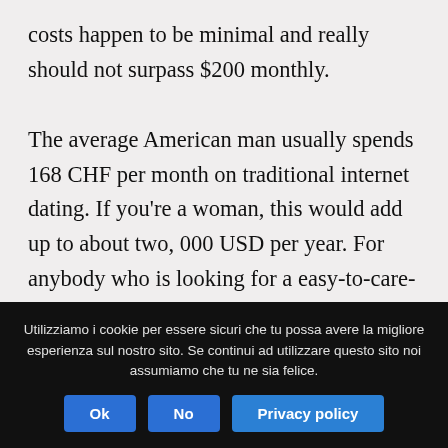costs happen to be minimal and really should not surpass $200 monthly.

The average American man usually spends 168 CHF per month on traditional internet dating. If you're a woman, this would add up to about two, 000 USD per year. For anybody who is looking for a easy-to-care-for girl, you might not need to pay a lot. A mail purchase bride costs around forty-five dollars each month. If
Utilizziamo i cookie per essere sicuri che tu possa avere la migliore esperienza sul nostro sito. Se continui ad utilizzare questo sito noi assumiamo che tu ne sia felice.